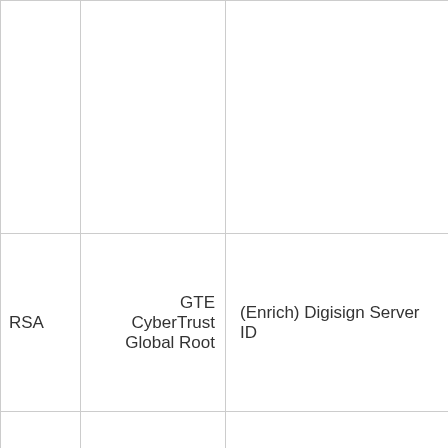|  |  |  |
| RSA | GTE CyberTrust Global Root | (Enrich) Digisign Server ID |
|  |  |  |